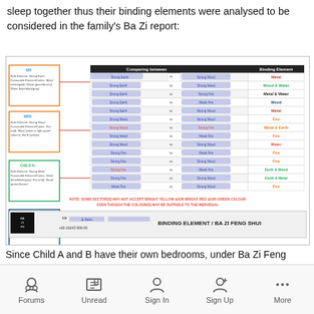sleep together thus their binding elements were analysed to be considered in the family's Ba Zi report:
[Figure (infographic): Ba Zi Feng Shui binding element report showing family members (Mr, Mrs, Child A, Child B, Child C, Child D) with their birth elements and favourite elements/colours, connected by arrows to a comparison table showing comparing between pairs with binding elements (Metal, Wood & Water, Metal & Water, Wood, Metal, Fire, Metal & Earth, Fire, Fire, Water, Fire, Fire, Earth & Wood, Earth & Metal, Fire). Note at bottom in red: NOTE: SOME SECTOR(S) MAY NOT ACCEPT BRIGHT YELLOW &/OR BRIGHT RED &/OR GREEN COLOUR EVEN THOUGH THE COLOUR(S) MAY BE SUITABLE TO THE INDIVIDUAL. Footer: Mr & Mrs [name] - BINDING ELEMENT / BA ZI FENG SHUI]
Since Child A and B have their own bedrooms, under Ba Zi Feng